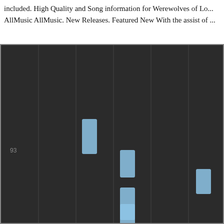included. High Quality and Song information for Werewolves of Lo... AllMusic AllMusic. New Releases. Featured New With the assist of ...
[Figure (other): A dark-themed music visualization or piano roll / scatter chart showing blue rectangular note blocks arranged at various vertical positions across multiple vertical grid columns on a dark (#2b2b2b) background. A label '93' appears on the left side. Vertical gray divider lines separate columns. The blue blocks appear at different heights suggesting a melody or pitch pattern.]